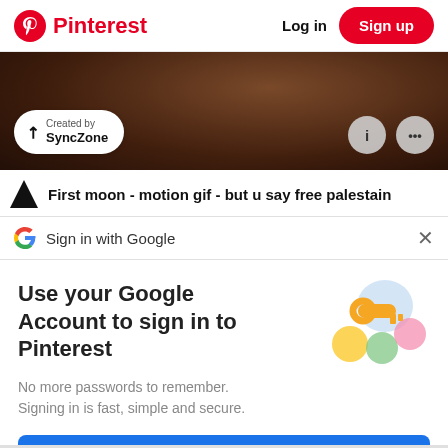Pinterest  Log in  Sign up
[Figure (photo): Background image with dark warm tones, showing a partial view. Overlay shows 'Created by SyncZone' button and info/more icon circles.]
First moon - motion gif - but u say free palestain
Sign in with Google
Use your Google Account to sign in to Pinterest
No more passwords to remember. Signing in is fast, simple and secure.
[Figure (illustration): Google key illustration showing a golden key with colorful circular badges around it.]
Continue